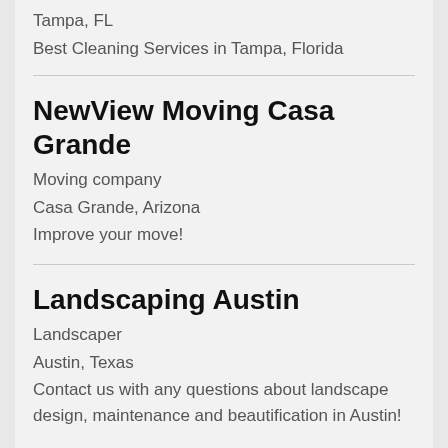Tampa, FL
Best Cleaning Services in Tampa, Florida
NewView Moving Casa Grande
Moving company
Casa Grande, Arizona
Improve your move!
Landscaping Austin
Landscaper
Austin, Texas
Contact us with any questions about landscape design, maintenance and beautification in Austin!